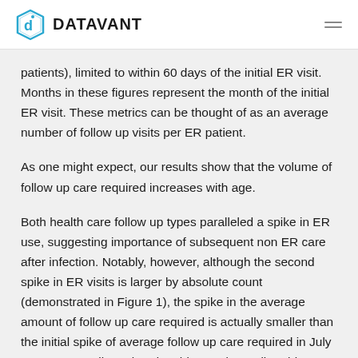DATAVANT
patients), limited to within 60 days of the initial ER visit. Months in these figures represent the month of the initial ER visit. These metrics can be thought of as an average number of follow up visits per ER patient.
As one might expect, our results show that the volume of follow up care required increases with age.
Both health care follow up types paralleled a spike in ER use, suggesting importance of subsequent non ER care after infection. Notably, however, although the second spike in ER visits is larger by absolute count (demonstrated in Figure 1), the spike in the average amount of follow up care required is actually smaller than the initial spike of average follow up care required in July 2020 across all age bands. This may be attributable to more effective initial ER treatment or home self-care as more about the disease